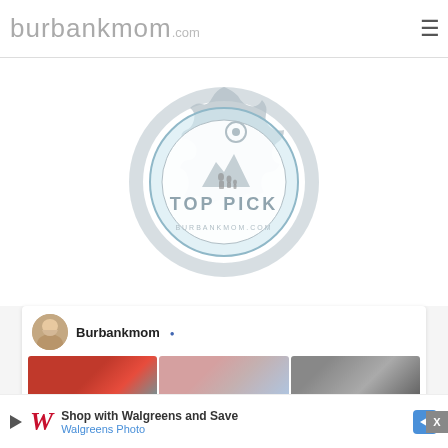burbankmom.com
[Figure (logo): Burbankmom.com Top Pick badge - circular seal in grey and light blue with text 'TOP PICK' and 'BURBANKMOM.COM' with mountain and family silhouette imagery]
[Figure (screenshot): Social media widget showing Burbankmom profile with avatar photo and three thumbnail images: salt dough ornaments, pink crochet pattern, and woman in dark dress]
[Figure (infographic): Advertisement banner: Shop with Walgreens and Save - Walgreens Photo, with Walgreens W logo and blue diamond arrow icon]